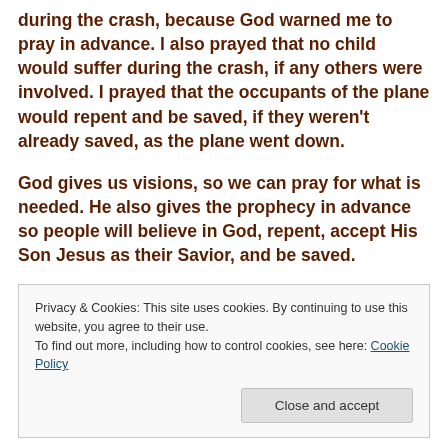during the crash, because God warned me to pray in advance. I also prayed that no child would suffer during the crash, if any others were involved. I prayed that the occupants of the plane would repent and be saved, if they weren't already saved, as the plane went down.

God gives us visions, so we can pray for what is needed. He also gives the prophecy in advance so people will believe in God, repent, accept His Son Jesus as their Savior, and be saved.
Privacy & Cookies: This site uses cookies. By continuing to use this website, you agree to their use.
To find out more, including how to control cookies, see here: Cookie Policy